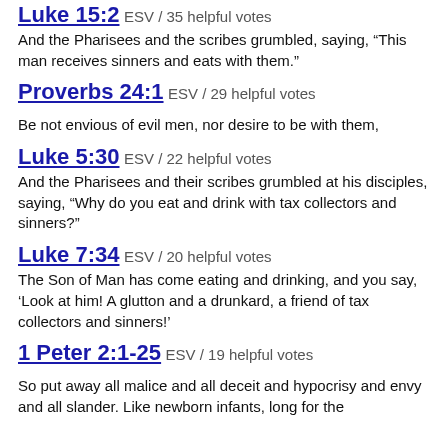Luke 15:2 ESV / 35 helpful votes
And the Pharisees and the scribes grumbled, saying, “This man receives sinners and eats with them.”
Proverbs 24:1 ESV / 29 helpful votes
Be not envious of evil men, nor desire to be with them,
Luke 5:30 ESV / 22 helpful votes
And the Pharisees and their scribes grumbled at his disciples, saying, “Why do you eat and drink with tax collectors and sinners?”
Luke 7:34 ESV / 20 helpful votes
The Son of Man has come eating and drinking, and you say, ‘Look at him! A glutton and a drunkard, a friend of tax collectors and sinners!’
1 Peter 2:1-25 ESV / 19 helpful votes
So put away all malice and all deceit and hypocrisy and envy and all slander. Like newborn infants, long for the